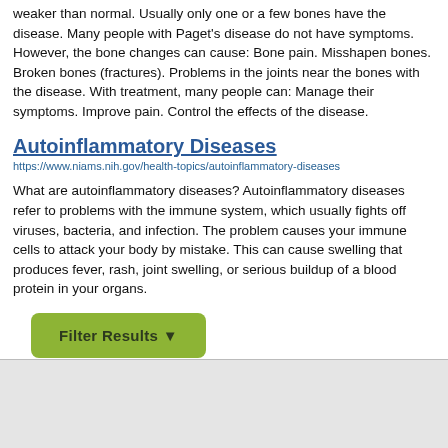weaker than normal. Usually only one or a few bones have the disease. Many people with Paget's disease do not have symptoms. However, the bone changes can cause: Bone pain. Misshapen bones. Broken bones (fractures). Problems in the joints near the bones with the disease. With treatment, many people can: Manage their symptoms. Improve pain. Control the effects of the disease.
Autoinflammatory Diseases
https://www.niams.nih.gov/health-topics/autoinflammatory-diseases
What are autoinflammatory diseases? Autoinflammatory diseases refer to problems with the immune system, which usually fights off viruses, bacteria, and infection. The problem causes your immune cells to attack your body by mistake. This can cause swelling that produces fever, rash, joint swelling, or serious buildup of a blood protein in your organs.
[Figure (other): Green 'Filter Results' button with funnel icon]